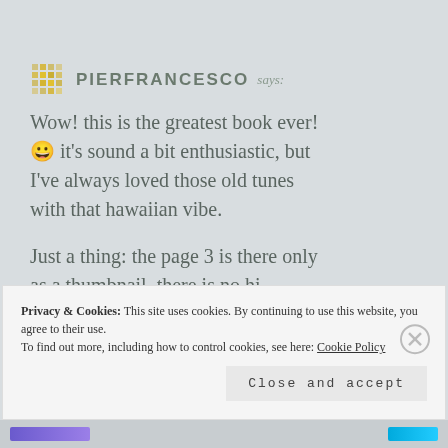PIERFRANCESCO says:
Wow! this is the greatest book ever! 😀 it's sound a bit enthusiastic, but I've always loved those old tunes with that hawaiian vibe.
Just a thing: the page 3 is there only as a thumbnail, there is no hi-resolution picture!
Privacy & Cookies: This site uses cookies. By continuing to use this website, you agree to their use. To find out more, including how to control cookies, see here: Cookie Policy
Close and accept